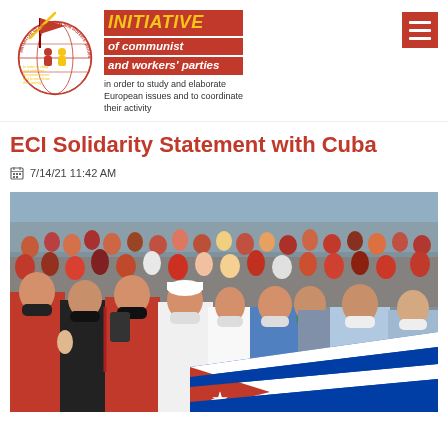[Figure (logo): Initiative of Communist and Workers' Parties logo — red flag emblem on left, text on right reading INITIATIVE of communist and workers' parties in order to study and elaborate European issues and to coordinate their activity]
ECI Solidarity Statement with Cuba
7/14/21 11:42 AM
[Figure (photo): Large crowd of people wearing masks, gathered outdoors, many dressed in red. Several people are holding Cuban flags (blue and white stripes with red triangle and white star). The crowd appears to be at a pro-government rally in Cuba.]